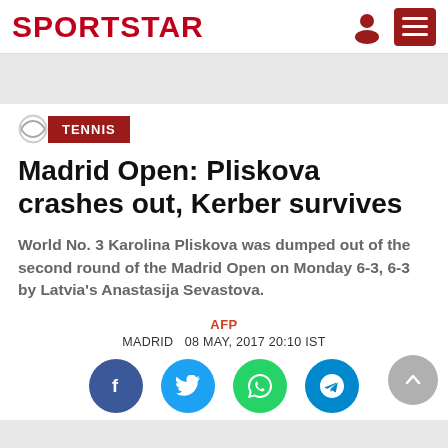SPORTSTAR
TENNIS
Madrid Open: Pliskova crashes out, Kerber survives
World No. 3 Karolina Pliskova was dumped out of the second round of the Madrid Open on Monday 6-3, 6-3 by Latvia's Anastasija Sevastova.
AFP
MADRID   08 MAY, 2017 20:10 IST
[Figure (infographic): Social share buttons: Facebook, Twitter, WhatsApp, Telegram, and a scroll-to-top arrow button]